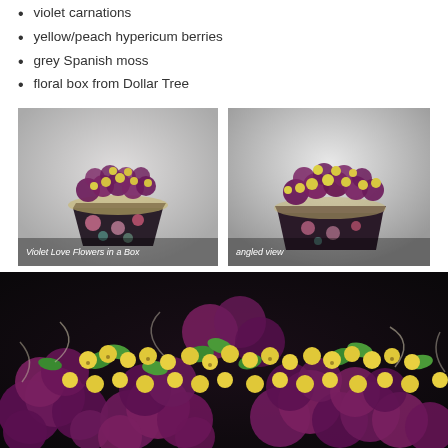violet carnations
yellow/peach hypericum berries
grey Spanish moss
floral box from Dollar Tree
[Figure (photo): Floral arrangement of violet carnations and yellow hypericum berries in a decorative floral-patterned box, front view. Caption: Violet Love Flowers in a Box]
[Figure (photo): Same floral arrangement viewed from an angle showing top of arrangement. Caption: angled view]
[Figure (photo): Close-up macro view of violet carnations and yellow hypericum berries with green foliage and grey Spanish moss]